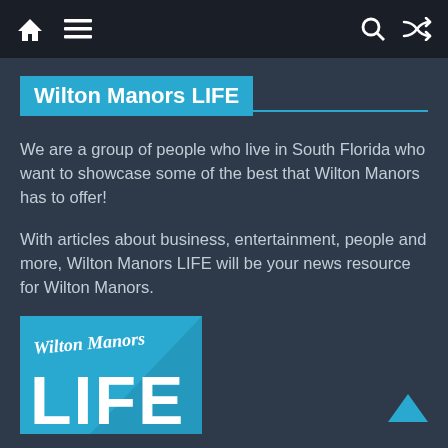Navigation bar with home, menu, search, and shuffle icons
Wilton Manors LIFE
We are a group of people who live in South Florida who want to showcase some of the best that Wilton Manors has to offer!
With articles about business, entertainment, people and more, Wilton Manors LIFE will be your news resource for Wilton Manors.
ADVERTISE WITH US!
[Figure (logo): Wilton Manors LIFE logo with blue background and white text showing 'Wilton Manors' in script and 'LIFE' in large block letters]